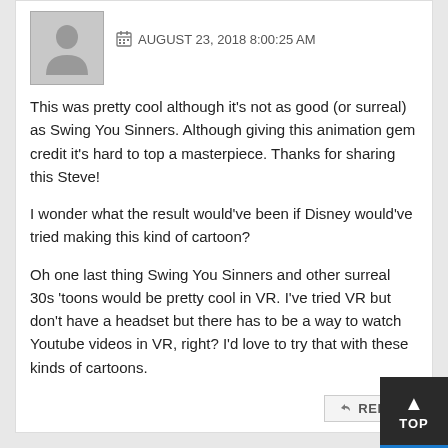[Figure (illustration): Generic user avatar placeholder - gray silhouette of a person]
AUGUST 23, 2018 8:00:25 AM
This was pretty cool although it's not as good (or surreal) as Swing You Sinners. Although giving this animation gem credit it's hard to top a masterpiece. Thanks for sharing this Steve!

I wonder what the result would've been if Disney would've tried making this kind of cartoon?

Oh one last thing Swing You Sinners and other surreal 30s 'toons would be pretty cool in VR. I've tried VR but don't have a headset but there has to be a way to watch Youtube videos in VR, right? I'd love to try that with these kinds of cartoons.
REPLY
[Figure (illustration): Generic user avatar placeholder - gray silhouette of a person, for nested comment by JP]
JP